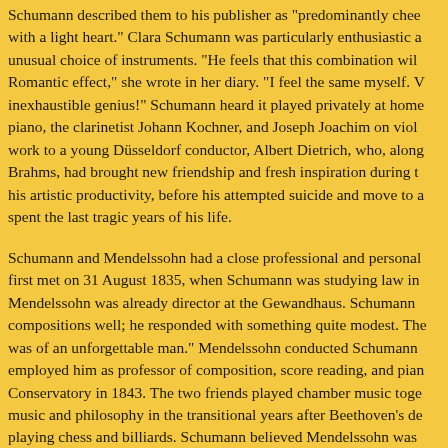Schumann described them to his publisher as "predominantly che with a light heart." Clara Schumann was particularly enthusiastic a unusual choice of instruments. "He feels that this combination wil Romantic effect," she wrote in her diary. "I feel the same myself. inexhaustible genius!" Schumann heard it played privately at hom piano, the clarinetist Johann Kochner, and Joseph Joachim on viol work to a young Düsseldorf conductor, Albert Dietrich, who, alon Brahms, had brought new friendship and fresh inspiration during t his artistic productivity, before his attempted suicide and move to spent the last tragic years of his life.
Schumann and Mendelssohn had a close professional and personal first met on 31 August 1835, when Schumann was studying law in Mendelssohn was already director at the Gewandhaus. Schumann compositions well; he responded with something quite modest. Th was of an unforgettable man." Mendelssohn conducted Schumann employed him as professor of composition, score reading, and pian Conservatory in 1843. The two friends played chamber music toge music and philosophy in the transitional years after Beethoven's d playing chess and billiards. Schumann believed Mendelssohn was contemporary musician." He was devastated when Mendelssohn d 1847 after a series of strokes.
Carl REINECKE  Piano Quintet in A Major Op. 83 • 1866
~ influenced by Schumann, the Quintet begins in surprising disse modulating into expressive Romanticism, and demonstrating his m...